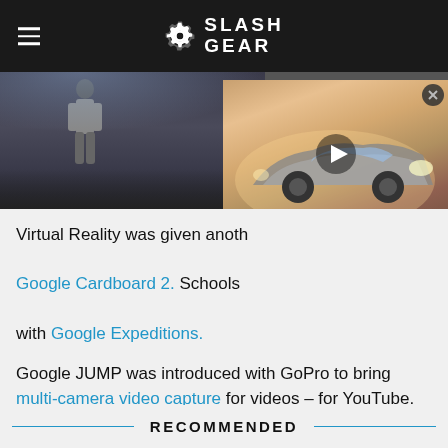SlashGear
[Figure (screenshot): Website screenshot showing SlashGear article page with a video thumbnail of a concept car overlaid on presentation images]
Virtual Reality was given another boost with Google Cardboard 2. Schools can now take virtual field trips with Google Expeditions.
Google JUMP was introduced with GoPro to bring multi-camera video capture for videos – for YouTube.
Stick around for more Google I/O action and Android details throughout the week!
RECOMMENDED